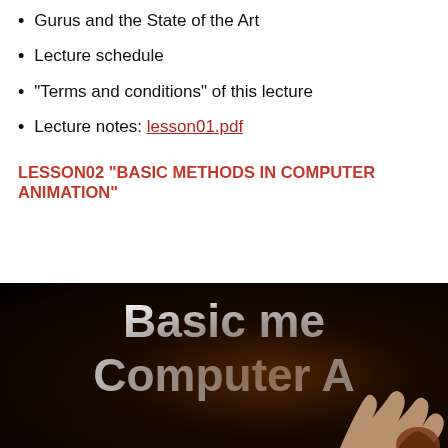Gurus and the State of the Art
Lecture schedule
"Terms and conditions" of this lecture
Lecture notes: lesson01.pdf
LESSON02 "BASIC METHODS IN COMPUTER ANIMATION"
[Figure (photo): Dark background slide showing text 'Basic me...' and 'Computer A...' with a person raising their hand partially visible at the bottom right]